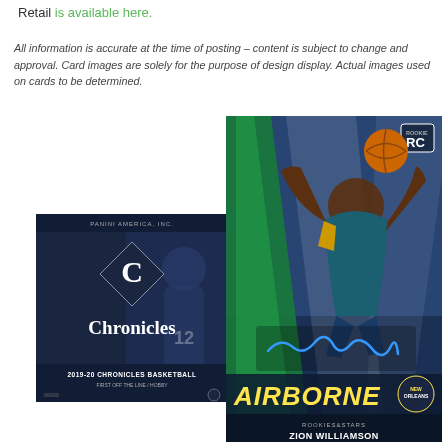Retail is available here.
All information is accurate at the time of posting – content is subject to change and approval. Card images are solely for the purpose of design display. Actual images used on cards to be determined.
[Figure (photo): 2019-20 Chronicles Basketball trading card product box showing Chronicles logo with a diamond shape and a basketball player (Ja Morant) in a Memphis Grizzlies uniform]
[Figure (photo): Zion Williamson Airborne Rookies & Stars autograph trading card with player going up for a layup, signature reads Zion W., New Orleans Pelicans, Rookie Card RC logo]